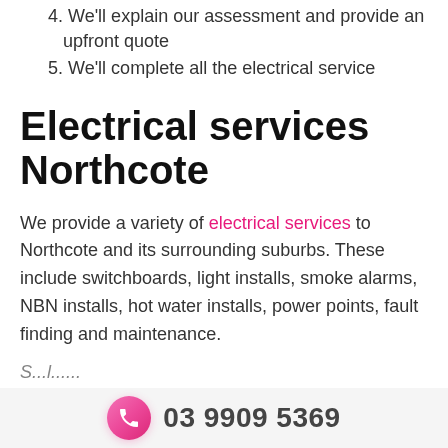4. We'll explain our assessment and provide an upfront quote
5. We'll complete all the electrical service
Electrical services Northcote
We provide a variety of electrical services to Northcote and its surrounding suburbs. These include switchboards, light installs, smoke alarms, NBN installs, hot water installs, power points, fault finding and maintenance.
03 9909 5369